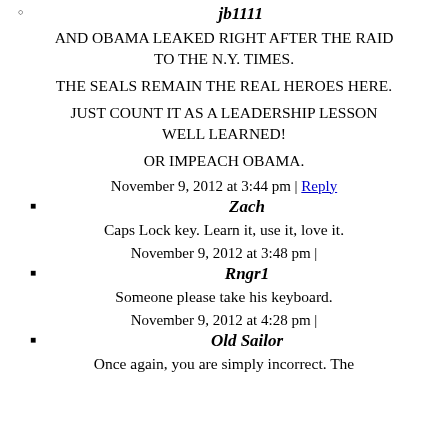jb1111
AND OBAMA LEAKED RIGHT AFTER THE RAID TO THE N.Y. TIMES.
THE SEALS REMAIN THE REAL HEROES HERE.
JUST COUNT IT AS A LEADERSHIP LESSON WELL LEARNED!
OR IMPEACH OBAMA.
November 9, 2012 at 3:44 pm | Reply
Zach
Caps Lock key. Learn it, use it, love it.
November 9, 2012 at 3:48 pm |
Rngr1
Someone please take his keyboard.
November 9, 2012 at 4:28 pm |
Old Sailor
Once again, you are simply incorrect. The